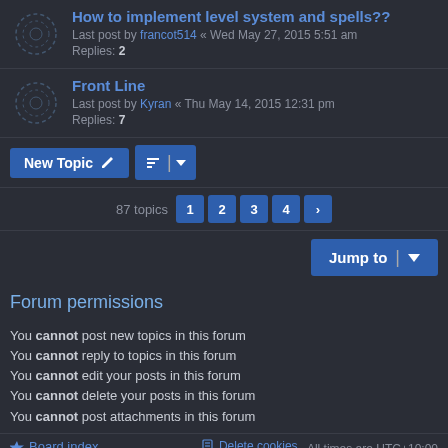How to implement level system and spells?? — Last post by francot514 « Wed May 27, 2015 5:51 am — Replies: 2
Front Line — Last post by Kyran « Thu May 14, 2015 12:31 pm — Replies: 7
New Topic | 87 topics 1 2 3 4 >
Jump to
Forum permissions
You cannot post new topics in this forum
You cannot reply to topics in this forum
You cannot edit your posts in this forum
You cannot delete your posts in this forum
You cannot post attachments in this forum
Board index | Delete cookies — All times are UTC+10:00
Powered by phpBB® Forum Software © phpBB Limited
Style by Arty - phpBB 3.2 by MrGaby
Privacy | Terms